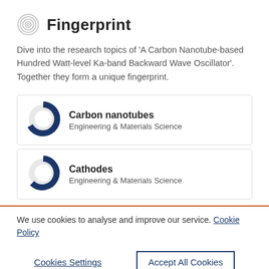Fingerprint
Dive into the research topics of 'A Carbon Nanotube-based Hundred Watt-level Ka-band Backward Wave Oscillator'. Together they form a unique fingerprint.
[Figure (infographic): Donut chart showing Carbon nanotubes, approximately 78% fill, dark blue. Card: Carbon nanotubes, Engineering & Materials Science]
[Figure (infographic): Donut chart showing Cathodes, approximately 55% fill, dark blue. Card: Cathodes, Engineering & Materials Science]
We use cookies to analyse and improve our service. Cookie Policy
Cookies Settings
Accept All Cookies